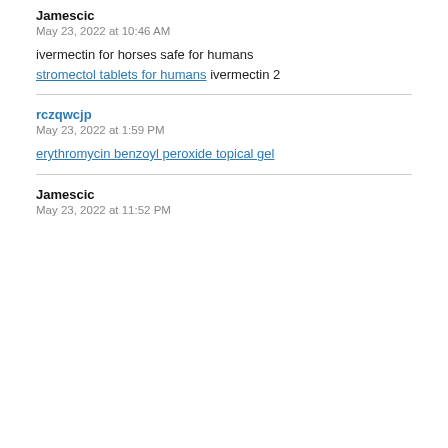Jamescic
May 23, 2022 at 10:46 AM
ivermectin for horses safe for humans stromectol tablets for humans ivermectin 2
rczqwcjp
May 23, 2022 at 1:59 PM
erythromycin benzoyl peroxide topical gel
Jamescic
May 23, 2022 at 11:52 PM